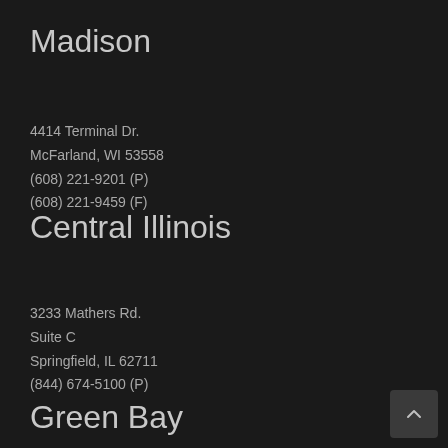Madison
4414 Terminal Dr.
McFarland, WI 53558
(608) 221-9201 (P)
(608) 221-9459 (F)
Central Illinois
3233 Mathers Rd.
Suite C
Springfield, IL 62711
(844) 674-5100 (P)
Green Bay